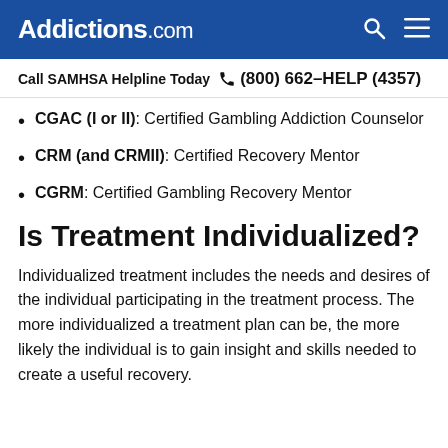Addictions.com
Call SAMHSA Helpline Today  (800) 662-HELP (4357)
CGAC (I or II): Certified Gambling Addiction Counselor
CRM (and CRMII): Certified Recovery Mentor
CGRM: Certified Gambling Recovery Mentor
Is Treatment Individualized?
Individualized treatment includes the needs and desires of the individual participating in the treatment process. The more individualized a treatment plan can be, the more likely the individual is to gain insight and skills needed to create a useful recovery.